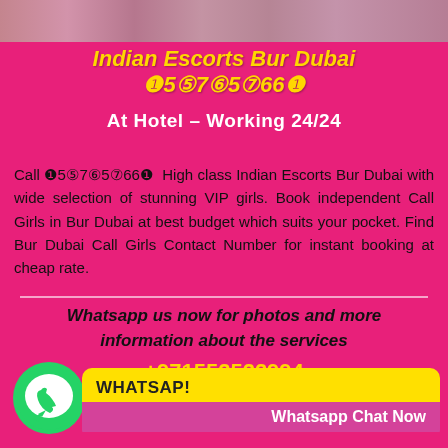[Figure (photo): Top portion shows a photo of a person in a pink striped top, cropped to show torso area against a pink background]
Indian Escorts Bur Dubai ❶5⑤7⑥5⑦66❶
At Hotel – Working 24/24
Call ❶5⑤7⑥5⑦66❶ High class Indian Escorts Bur Dubai with wide selection of stunning VIP girls. Book independent Call Girls in Bur Dubai at best budget which suits your pocket. Find Bur Dubai Call Girls Contact Number for instant booking at cheap rate.
Whatsapp us now for photos and more information about the services
+971552522994
[Figure (logo): WhatsApp green logo icon]
WHATSAP! Whatsapp Chat Now